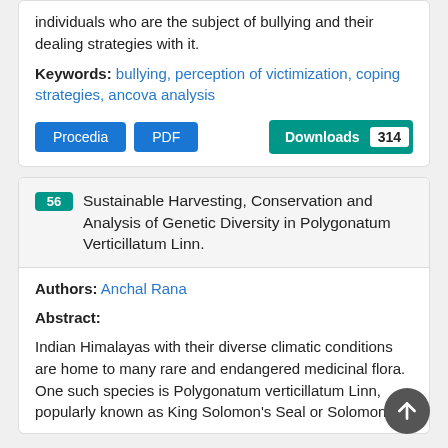individuals who are the subject of bullying and their dealing strategies with it.
Keywords: bullying, perception of victimization, coping strategies, ancova analysis
Procedia  PDF  Downloads 314
56 Sustainable Harvesting, Conservation and Analysis of Genetic Diversity in Polygonatum Verticillatum Linn.
Authors: Anchal Rana
Abstract:
Indian Himalayas with their diverse climatic conditions are home to many rare and endangered medicinal flora. One such species is Polygonatum verticillatum Linn, popularly known as King Solomon's Seal or Solomon's